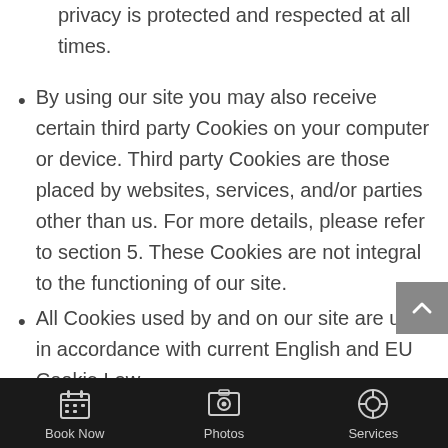privacy is protected and respected at all times.
By using our site you may also receive certain third party Cookies on your computer or device. Third party Cookies are those placed by websites, services, and/or parties other than us. For more details, please refer to section 5. These Cookies are not integral to the functioning of our site.
All Cookies used by and on our site are used in accordance with current English and EU Cookie Law.
Before Cookies are placed on your computer or device you will be shown a message requesting your consent to set those Cookies. By giving your consent to the placing of